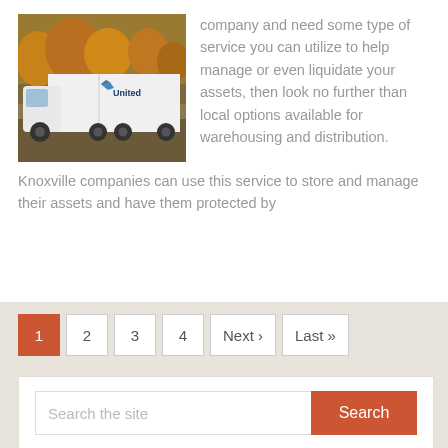[Figure (photo): White United truck/semi trailer parked with autumn trees in background]
company and need some type of service you can utilize to help manage or even liquidate your assets, then look no further than local options available for warehousing and distribution. Knoxville companies can use this service to store and manage their assets and have them protected by
1
2
3
4
Next ›
Last »
Search the site
Follow Us